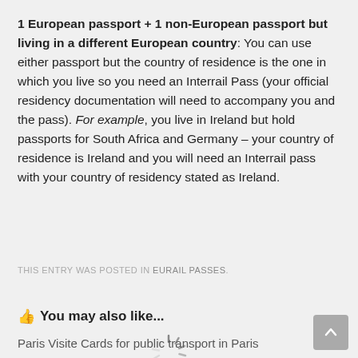1 European passport + 1 non-European passport but living in a different European country: You can use either passport but the country of residence is the one in which you live so you need an Interrail Pass (your official residency documentation will need to accompany you and the pass). For example, you live in Ireland but hold passports for South Africa and Germany – your country of residence is Ireland and you will need an Interrail pass with your country of residency stated as Ireland.
THIS ENTRY WAS POSTED IN EURAIL PASSES.
👍 You may also like...
Paris Visite Cards for public transport in Paris